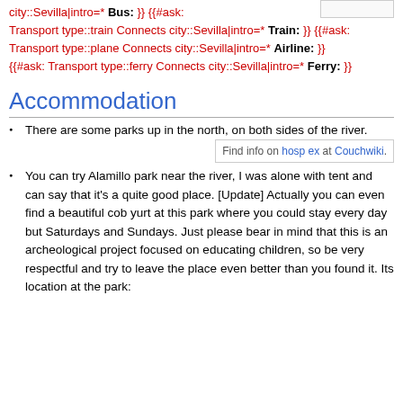city::Sevilla|intro=* Bus: }} {{#ask: Transport type::train Connects city::Sevilla|intro=* Train: }} {{#ask: Transport type::plane Connects city::Sevilla|intro=* Airline: }} {{#ask: Transport type::ferry Connects city::Sevilla|intro=* Ferry: }}
Accommodation
There are some parks up in the north, on both sides of the river.
You can try Alamillo park near the river, I was alone with tent and can say that it's a quite good place. [Update] Actually you can even find a beautiful cob yurt at this park where you could stay every day but Saturdays and Sundays. Just please bear in mind that this is an archeological project focused on educating children, so be very respectful and try to leave the place even better than you found it. Its location at the park: